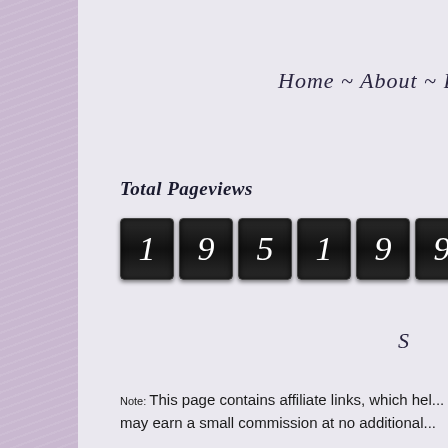Home ~ About ~ Book...
Total Pageviews
[Figure (other): Odometer-style pageview counter showing the number 195199, rendered as six black segmented digit tiles with white serif italic numerals]
S...
Note: This page contains affiliate links, which hel... may earn a small commission at no additional...